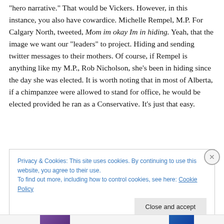“hero narrative.” That would be Vickers. However, in this instance, you also have cowardice. Michelle Rempel, M.P. For Calgary North, tweeted, Mom im okay Im in hiding. Yeah, that the image we want our “leaders” to project. Hiding and sending twitter messages to their mothers. Of course, if Rempel is anything like my M.P., Rob Nicholson, she’s been in hiding since the day she was elected. It is worth noting that in most of Alberta, if a chimpanzee were allowed to stand for office, he would be elected provided he ran as a Conservative. It’s just that easy.
Privacy & Cookies: This site uses cookies. By continuing to use this website, you agree to their use.
To find out more, including how to control cookies, see here: Cookie Policy